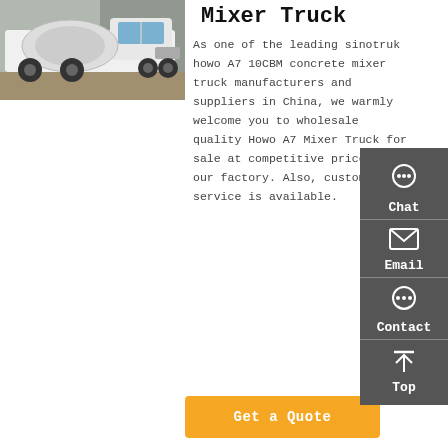[Figure (photo): White Sinotruk Howo A7 concrete mixer truck parked outdoors]
Mixer Truck
As one of the leading sinotruk howo A7 10CBM concrete mixer truck manufacturers and suppliers in China, we warmly welcome you to wholesale quality Howo A7 Mixer Truck for sale at competitive price from our factory. Also, customized service is available.
[Figure (other): Sidebar with Chat, Email, Contact, and Top navigation icons on dark grey background]
Get a Quote